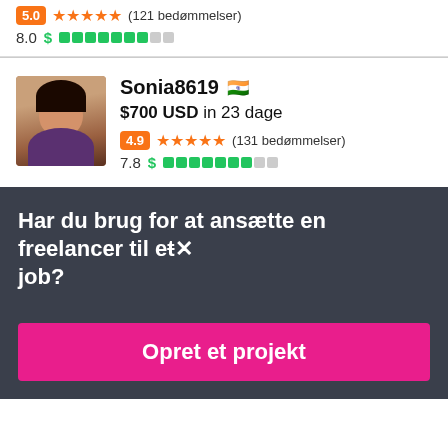5.0 ★★★★★ (121 bedømmelser)
8.0 $ ▓▓▓▓▓▓▓▒▒
Sonia8619 🇮🇳
$700 USD in 23 dage
4.9 ★★★★★ (131 bedømmelser)
7.8 $ ▓▓▓▓▓▓▓▒▒
Har du brug for at ansætte en freelancer til et job?
Opret et projekt